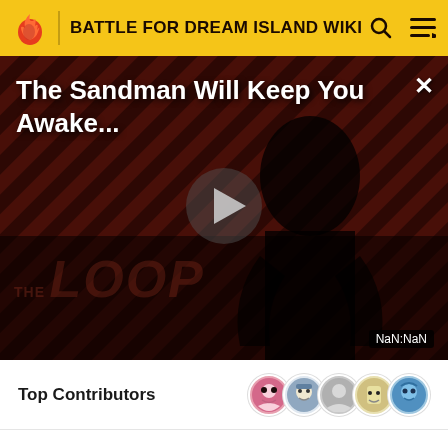BATTLE FOR DREAM ISLAND WIKI
[Figure (screenshot): Video player showing 'The Sandman Will Keep You Awake...' with a dark figure on a diagonal striped background, a play button in the center, 'THE LOOP' watermark, and NaN:NaN timestamp.]
Top Contributors
Comments (9)
Categories